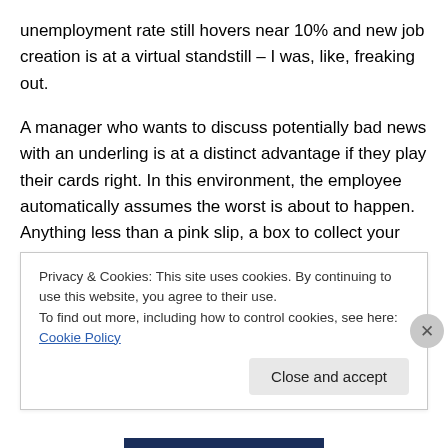unemployment rate still hovers near 10% and new job creation is at a virtual standstill – I was, like, freaking out.
A manager who wants to discuss potentially bad news with an underling is at a distinct advantage if they play their cards right. In this environment, the employee automatically assumes the worst is about to happen. Anything less than a pink slip, a box to collect your personal effects and a security-guard-escorted walk to the parking lot becomes welcome news.
If the manager...
Privacy & Cookies: This site uses cookies. By continuing to use this website, you agree to their use.
To find out more, including how to control cookies, see here: Cookie Policy
Close and accept